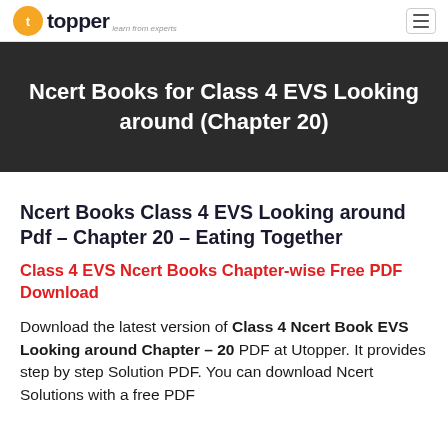topper — learn from experts
Ncert Books for Class 4 EVS Looking around (Chapter 20)
Ncert Books Class 4 EVS Looking around Pdf – Chapter 20 – Eating Together
Class 4 EVS Ncert Books Chapter-wise Free PDF Download
Download the latest version of Class 4 Ncert Book EVS Looking around Chapter – 20 PDF at Utopper. It provides step by step Solution PDF. You can download Ncert Solutions with a free PDF